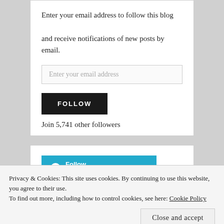Enter your email address to follow this blog and receive notifications of new posts by email.
Enter your email address
FOLLOW
Join 5,741 other followers
Follow Www.4kidsandachicken.com
Privacy & Cookies: This site uses cookies. By continuing to use this website, you agree to their use.
To find out more, including how to control cookies, see here: Cookie Policy
Close and accept